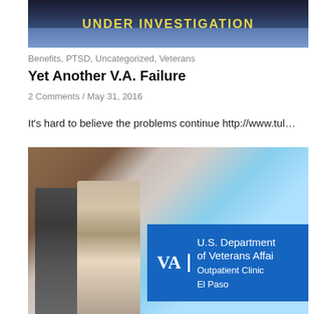[Figure (photo): Top banner image with text 'UNDER INVESTIGATION' in yellow letters over a dark background with cars]
Benefits, PTSD, Uncategorized, Veterans
Yet Another V.A. Failure
2 Comments / May 31, 2016
It's hard to believe the problems continue http://www.tul...
[Figure (photo): Photo of two people walking in front of a VA Outpatient Clinic El Paso sign. A blue U.S. Department of Veterans Affairs sign is visible in the foreground.]